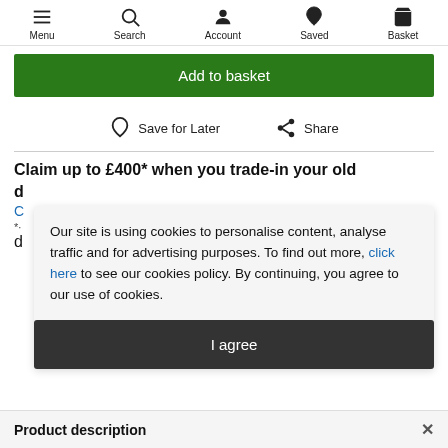Menu  Search  Account  Saved  Basket
Add to basket
Save for Later   Share
Claim up to £400* when you trade-in your old d
Our site is using cookies to personalise content, analyse traffic and for advertising purposes. To find out more, click here to see our cookies policy. By continuing, you agree to our use of cookies.
I agree
Product description